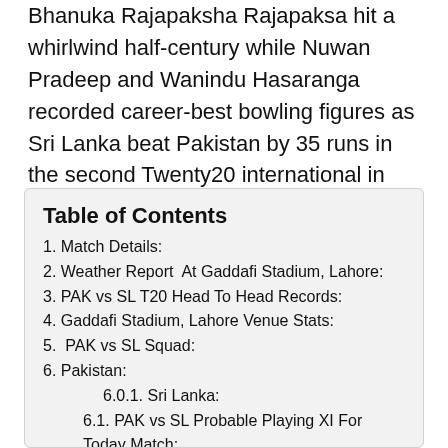Bhanuka Rajapaksha Rajapaksa hit a whirlwind half-century while Nuwan Pradeep and Wanindu Hasaranga recorded career-best bowling figures as Sri Lanka beat Pakistan by 35 runs in the second Twenty20 international in Lahore on Monday.
Table of Contents
1. Match Details:
2. Weather Report  At Gaddafi Stadium, Lahore:
3. PAK vs SL T20 Head To Head Records:
4. Gaddafi Stadium, Lahore Venue Stats:
5.  PAK vs SL Squad:
6. Pakistan:
6.0.1. Sri Lanka:
6.1. PAK vs SL Probable Playing XI For Today Match:
6.1.1. Pakistan:
6.1.2. Sri Lanka:
7. Team News For Today's Match Between PAK and SL :